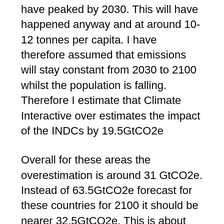have peaked by 2030. This will have happened anyway and at around 10-12 tonnes per capita. I have therefore assumed that emissions will stay constant from 2030 to 2100 whilst the population is falling. Therefore I estimate that Climate Interactive over estimates the impact of the INDCs by 19.5GtCO2e
Overall for these areas the overestimation is around 31 GtCO2e. Instead of 63.5GtCO2e forecast for these countries for 2100 it should be nearer 32.5GtCO2e. This is about half the total 2100 reduction that Climate Interactive claims that the INDC submission will make from all types of greenhouse gases. A more rigorous forecast may have lower per capita emissions in the OECD and China. There may be other countries where similar forecast issues of CO2 emissions might apply. In addition, in note 7 I briefly look at the “No Action” CH4 emissions, the second largest